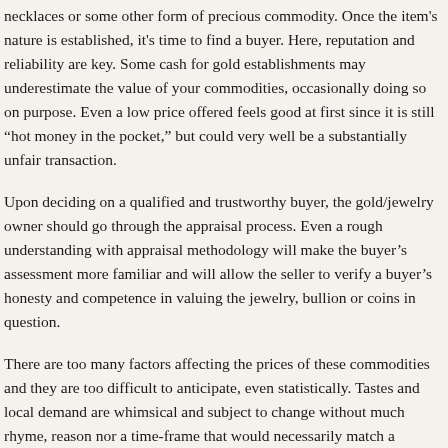necklaces or some other form of precious commodity. Once the item's nature is established, it's time to find a buyer. Here, reputation and reliability are key. Some cash for gold establishments may underestimate the value of your commodities, occasionally doing so on purpose. Even a low price offered feels good at first since it is still "hot money in the pocket," but could very well be a substantially unfair transaction.
Upon deciding on a qualified and trustworthy buyer, the gold/jewelry owner should go through the appraisal process. Even a rough understanding with appraisal methodology will make the buyer's assessment more familiar and will allow the seller to verify a buyer's honesty and competence in valuing the jewelry, bullion or coins in question.
There are too many factors affecting the prices of these commodities and they are too difficult to anticipate, even statistically. Tastes and local demand are whimsical and subject to change without much rhyme, reason nor a time-frame that would necessarily match a seller's best interests.